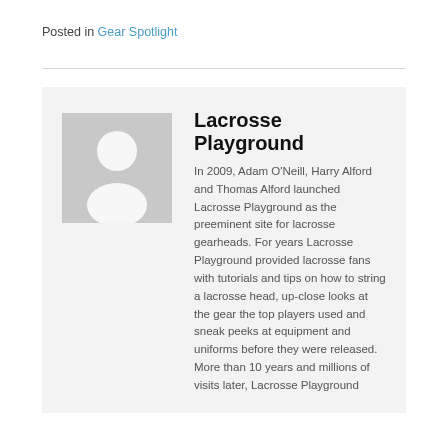Posted in Gear Spotlight
[Figure (illustration): Generic user avatar placeholder: grey square background with white silhouette of a person (circle head, rounded shoulders)]
Lacrosse Playground
In 2009, Adam O'Neill, Harry Alford and Thomas Alford launched Lacrosse Playground as the preeminent site for lacrosse gearheads. For years Lacrosse Playground provided lacrosse fans with tutorials and tips on how to string a lacrosse head, up-close looks at the gear the top players used and sneak peeks at equipment and uniforms before they were released. More than 10 years and millions of visits later, Lacrosse Playground